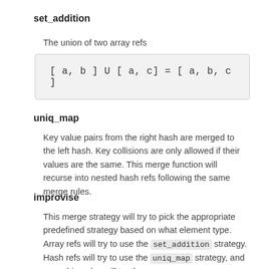set_addition
The union of two array refs
uniq_map
Key value pairs from the right hash are merged to the left hash. Key collisions are only allowed if their values are the same. This merge function will recurse into nested hash refs following the same merge rules.
improvise
This merge strategy will try to pick the appropriate predefined strategy based on what element type. Array refs will try to use the set_addition strategy. Hash refs will try to use the uniq_map strategy, and everything else will try the